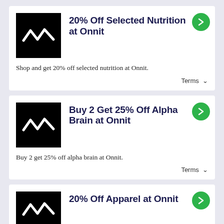20% Off Selected Nutrition at Onnit
Shop and get 20% off selected nutrition at Onnit.
Terms ∨
Buy 2 Get 25% Off Alpha Brain at Onnit
Buy 2 get 25% off alpha brain at Onnit.
Terms ∨
20% Off Apparel at Onnit